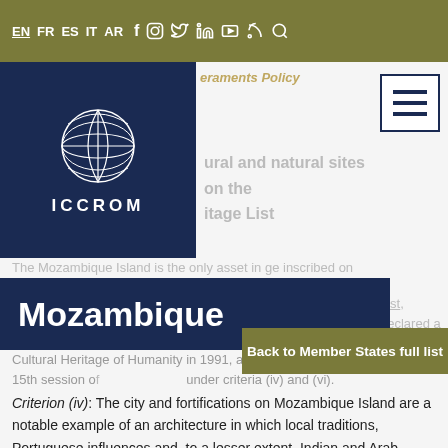EN FR ES IT AR [social icons: Facebook, Instagram, Twitter, LinkedIn, YouTube, RSS, Search]
[Figure (logo): ICCROM globe logo with text ICCROM below, white on dark navy background]
ultural and natural sites on the itage List
Mozambique
Back to Member States full list
The Mozambique Island is the only asset in ge inscribed on List, declared a Cultural Heritage of Humanity in 1991, at the 15th session of (Carthage, Tunisia) under criteria (iv) and (vi).
Criterion (iv): The city and fortifications on Mozambique Island are a notable example of an architecture in which local traditions, Portuguese influences and, to a lesser extent, Indian and Arab influences are all intertwined.
Criterion (vi): The Island of Mozambique is an important testimony to the establishment and